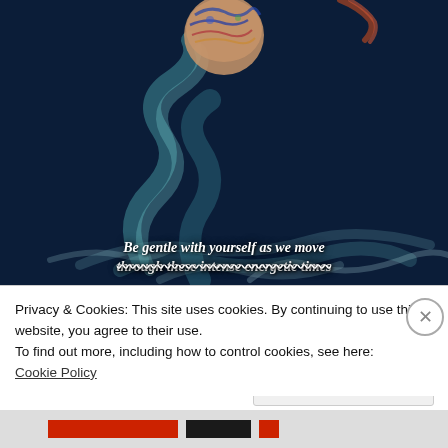[Figure (photo): Dark navy blue background with swirling teal and white smoke, and a tattooed arm visible at the top center. The tattoo features intricate colorful designs. White italic bold text at the bottom reads 'Be gentle with yourself as we move through these intense energetic times']
Privacy & Cookies: This site uses cookies. By continuing to use this website, you agree to their use.
To find out more, including how to control cookies, see here:
Cookie Policy
Close and accept